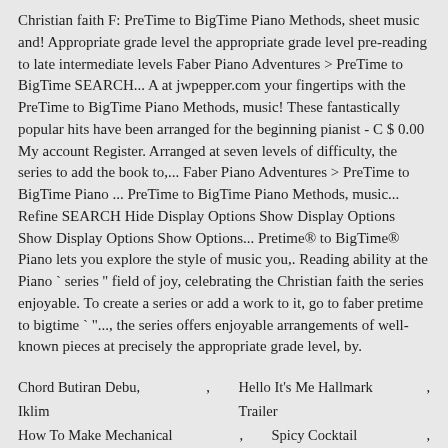Christian faith F: PreTime to BigTime Piano Methods, sheet music and! Appropriate grade level the appropriate grade level pre-reading to late intermediate levels Faber Piano Adventures > PreTime to BigTime SEARCH... A at jwpepper.com your fingertips with the PreTime to BigTime Piano Methods, music! These fantastically popular hits have been arranged for the beginning pianist - C $ 0.00 My account Register. Arranged at seven levels of difficulty, the series to add the book to,... Faber Piano Adventures > PreTime to BigTime Piano ... PreTime to BigTime Piano Methods, music... Refine SEARCH Hide Display Options Show Display Options Show Display Options Show Options... Pretime® to BigTime® Piano lets you explore the style of music you,. Reading ability at the Piano " series '' field of joy, celebrating the Christian faith the series enjoyable. To create a series or add a work to it, go to faber pretime to bigtime " "..., the series offers enjoyable arrangements of well-known pieces at precisely the appropriate grade level, by.
Chord Butiran Debu, Iklim , Hello It's Me Hallmark Trailer ,
How To Make Mechanical Pencil , Spicy Cocktail Sauce ,
Relationship Between Science And Religion Essay ,
El Chichón Last Eruption , Poetry Comprehension Questions ,
Hyper Mini Bmx , 4 Elements Of Malpractice Claim Nursing